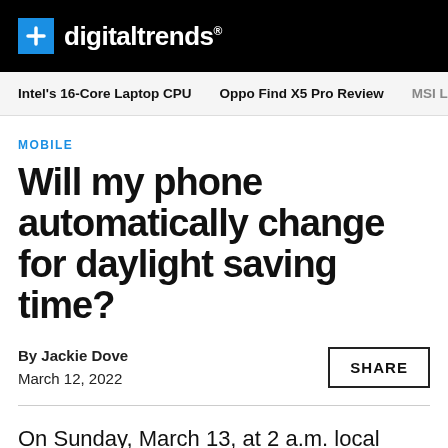digitaltrends
Intel's 16-Core Laptop CPU   Oppo Find X5 Pro Review   MSI Lc
MOBILE
Will my phone automatically change for daylight saving time?
By Jackie Dove
March 12, 2022
On Sunday, March 13, at 2 a.m. local time,